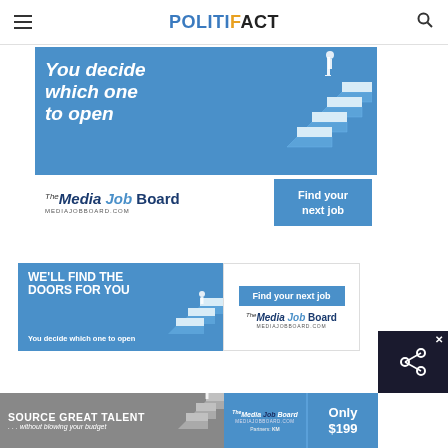POLITIFACT
[Figure (infographic): Media Job Board advertisement banner: 'You decide which one to open' with blue background, staircase illustration, and 'Find your next job' button]
[Figure (infographic): Media Job Board advertisement: 'WE'LL FIND THE DOORS FOR YOU / You decide which one to open' with 'Find your next job' button and Media Job Board logo]
[Figure (infographic): Media Job Board bottom bar advertisement: 'SOURCE GREAT TALENT ...without blowing your budget' with Media Job Board logo and 'Only $199']